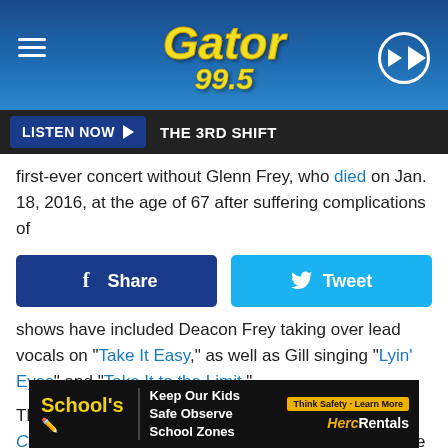Gator 99.5 — LISTEN NOW ▶ THE 3RD SHIFT
first-ever concert without Glenn Frey, who died on Jan. 18, 2016, at the age of 67 after suffering complications of
[Figure (screenshot): Facebook Share and Twitter Tweet social sharing buttons]
shows have included Deacon Frey taking over lead vocals on "Take It Easy," as well as Gill singing "Lyin' Eyes" and "Take It to the Limit."
The Eagles have devoted much of 2021 to their Hotel California Tour, which was rescheduled from 2020 due to the pandemic. Those shows featured the group performing their
[Figure (screenshot): Advertisement banner: School's Keep Our Kids Safe Observe School Zones — Think Safety Learn More — HercRentals]